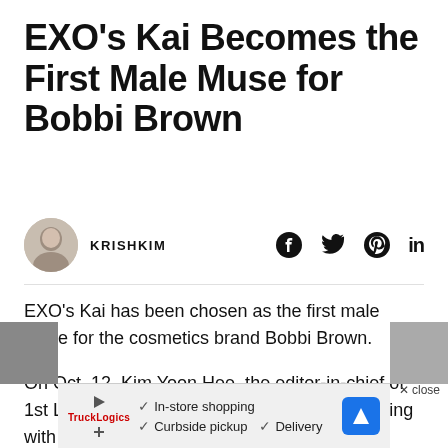EXO’s Kai Becomes the First Male Muse for Bobbi Brown
KRISHKIM
EXO’s Kai has been chosen as the first male muse for the cosmetics brand Bobbi Brown.
On Oct. 12, Kim Yoon Hee, the editor-in-chief of 1st Look Magazine, posted a photo of her posing with EXO’s Kai on her Instagram.